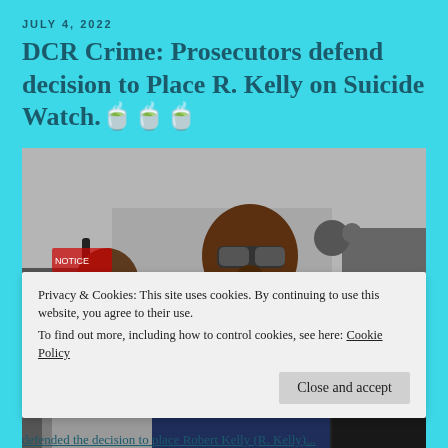JULY 4, 2022
DCR Crime: Prosecutors defend decision to Place R. Kelly on Suicide Watch. 🍵🍵🍵
[Figure (photo): R. Kelly wearing sunglasses and a navy suit with a black tie, walking outdoors. A man in a grey suit holding an umbrella is visible behind him. Crowd and cameras in background.]
Privacy & Cookies: This site uses cookies. By continuing to use this website, you agree to their use.
To find out more, including how to control cookies, see here: Cookie Policy
Close and accept
defended the decision to place Robert Kelly (R. Kelly)...